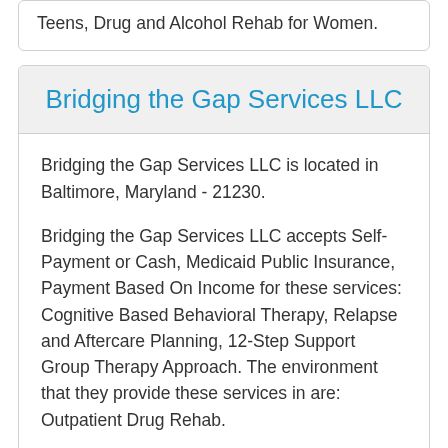Teens, Drug and Alcohol Rehab for Women.
Bridging the Gap Services LLC
Bridging the Gap Services LLC is located in Baltimore, Maryland - 21230.
Bridging the Gap Services LLC accepts Self-Payment or Cash, Medicaid Public Insurance, Payment Based On Income for these services: Cognitive Based Behavioral Therapy, Relapse and Aftercare Planning, 12-Step Support Group Therapy Approach. The environment that they provide these services in are: Outpatient Drug Rehab.